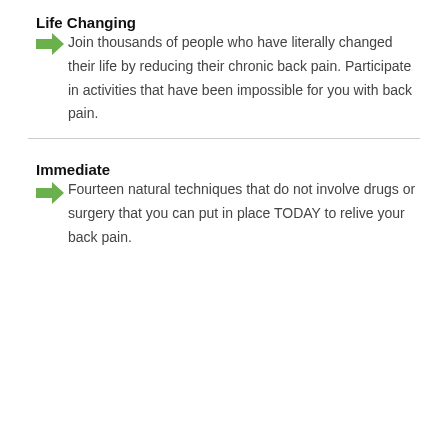Life Changing
Join thousands of people who have literally changed their life by reducing their chronic back pain. Participate in activities that have been impossible for you with back pain.
Immediate
Fourteen natural techniques that do not involve drugs or surgery that you can put in place TODAY to relive your back pain.